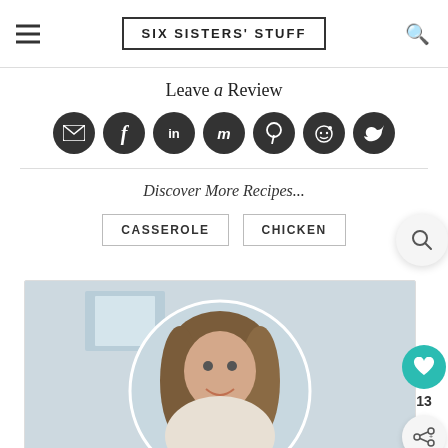SIX SISTERS' STUFF
Leave a Review
[Figure (infographic): Row of 7 circular dark social sharing buttons: email (envelope), Facebook (f), LinkedIn (in), Mix (m), Pinterest (p), Reddit (alien), Twitter (bird)]
Discover More Recipes...
CASSEROLE
CHICKEN
[Figure (photo): Photo of a smiling woman with long brown hair in a white kitchen, cropped in a circular frame on a white card background]